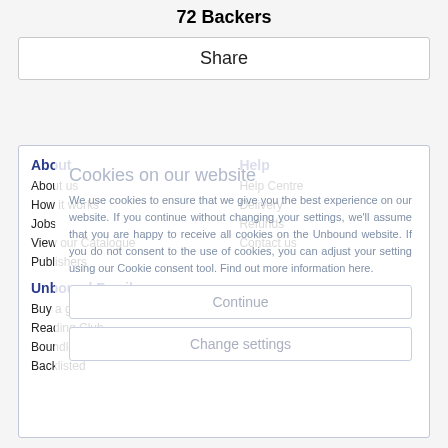72 Backers
Share
About
Help
About us
Help Centre
How it works
Delivery
Jobs
Refunds
View our Catalogue
Contact us
Publishers
Unbound Family
Social
Buy a gift voucher
Newsletter
Reading Club
Events
Boundless
Backlisted
Cookies on our website
We use cookies to ensure that we give you the best experience on our website. If you continue without changing your settings, we'll assume that you are happy to receive all cookies on the Unbound website. If you do not consent to the use of cookies, you can adjust your setting using our Cookie consent tool. Find out more information here.
Continue
Change settings